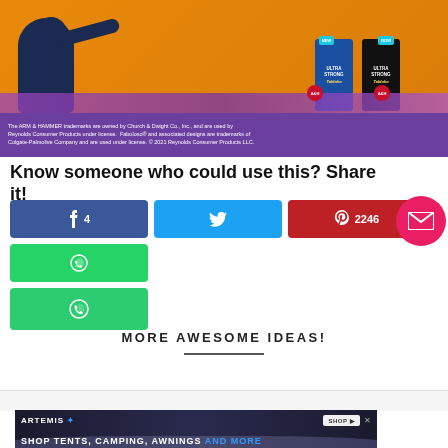[Figure (photo): Advertisement for ARM & HAMMER Fabuloso laundry products on an orange background with a person flexing, two product boxes, and purple flowers along the bottom. Purple strip at bottom contains trademark disclaimer text.]
The ARM & HAMMER trademarks are owned by Church & Dwight Co., Inc., and are used by Reynolds Consumer Products under license. Fabuloso® and associated designs are trademarks of Colgate-Palmolive Company and are used under license. © 2021 Reynolds Consumer Products LLC.
Know someone who could use this? Share it!
[Figure (other): Row of social share buttons: Facebook (showing count 4), Twitter, Pinterest (showing count 2246), WhatsApp (green), and a second green WhatsApp-style button below. A pink circular email/envelope FAB button appears at the right.]
MORE AWESOME IDEAS!
[Figure (other): Bottom advertisement banner for Artemis: 'SHOP TENTS, CAMPING, AWNINGS AND MORE' on a dark background with a moonscape image.]